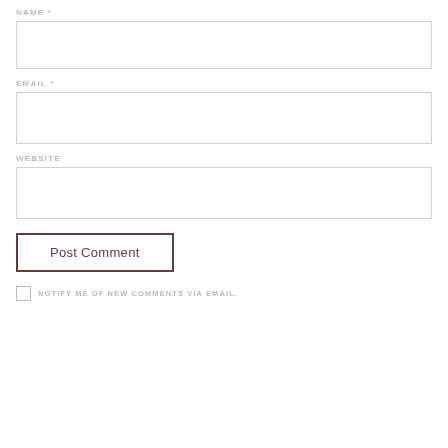NAME *
EMAIL *
WEBSITE
Post Comment
NOTIFY ME OF NEW COMMENTS VIA EMAIL.